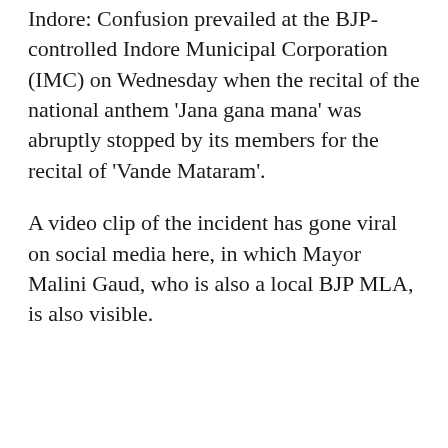Indore: Confusion prevailed at the BJP-controlled Indore Municipal Corporation (IMC) on Wednesday when the recital of the national anthem 'Jana gana mana' was abruptly stopped by its members for the recital of 'Vande Mataram'.
A video clip of the incident has gone viral on social media here, in which Mayor Malini Gaud, who is also a local BJP MLA, is also visible.